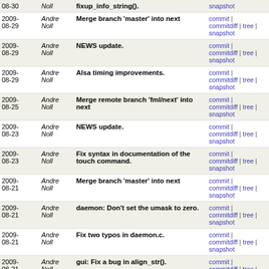| Date | Author | Commit Message | Links |
| --- | --- | --- | --- |
| 2009-08-30 | Andre Noll | fixup_info_string(). | commit | commitdiff | tree | snapshot |
| 2009-08-29 | Andre Noll | Merge branch 'master' into next | commit | commitdiff | tree | snapshot |
| 2009-08-29 | Andre Noll | NEWS update. | commit | commitdiff | tree | snapshot |
| 2009-08-29 | Andre Noll | Alsa timing improvements. | commit | commitdiff | tree | snapshot |
| 2009-08-25 | Andre Noll | Merge remote branch 'fml/next' into next | commit | commitdiff | tree | snapshot |
| 2009-08-23 | Andre Noll | NEWS update. | commit | commitdiff | tree | snapshot |
| 2009-08-23 | Andre Noll | Fix syntax in documentation of the touch command. | commit | commitdiff | tree | snapshot |
| 2009-08-21 | Andre Noll | Merge branch 'master' into next | commit | commitdiff | tree | snapshot |
| 2009-08-21 | Andre Noll | daemon: Don't set the umask to zero. | commit | commitdiff | tree | snapshot |
| 2009-08-21 | Andre Noll | Fix two typos in daemon.c. | commit | commitdiff | tree | snapshot |
| 2009-08-21 | Andre Noll | gui: Fix a bug in align_str(). | commit | commitdiff | tree | snapshot |
| 2009-08-21 | Andre Noll | para.css: Remove superflous '#' chars. | commit | commitdiff | tree | snapshot |
| 2009-08-03 | Andre Noll | Merge commit 'meins/master' | commit | commitdiff | tree | snapshot |
| 2009-08-02 | Andre Noll | Merge branch 'master' into next | commit | commitdiff | tree | snapshot |